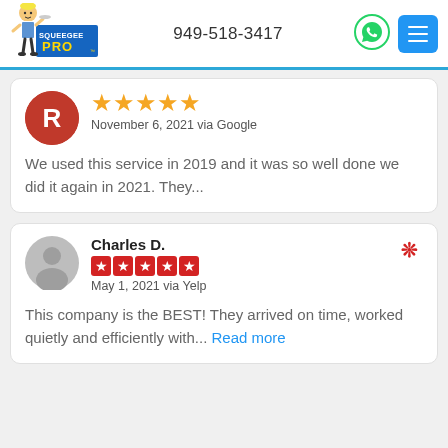[Figure (logo): Squeegee Pro logo with cartoon character]
949-518-3417
[Figure (other): WhatsApp phone icon circle]
[Figure (other): Blue hamburger menu button]
[Figure (other): Red R avatar circle, 5 gold stars, November 6, 2021 via Google]
We used this service in 2019 and it was so well done we did it again in 2021. They...
Charles D.
[Figure (other): Grey user avatar, 5 red Yelp stars, May 1, 2021 via Yelp, Yelp logo]
This company is the BEST! They arrived on time, worked quietly and efficiently with... Read more